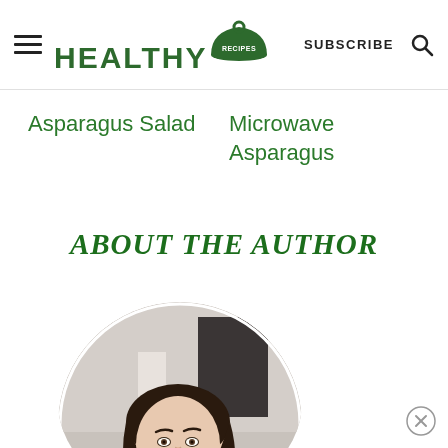HEALTHY RECIPES | SUBSCRIBE
Asparagus Salad
Microwave Asparagus
ABOUT THE AUTHOR
[Figure (photo): Circular portrait photo of a woman with dark hair, smiling, wearing a white top, against a light background.]